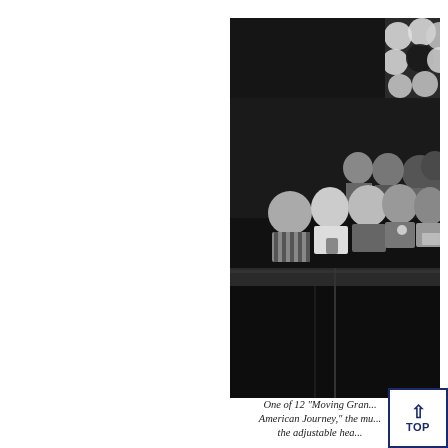[Figure (photo): Black and white photograph showing a group of people seated in what appears to be an auditorium or theater. Multiple rows of audience members are visible, with balloons or decorations visible in the upper right corner. The photo is cropped on the right edge.]
One of 12 "Moving Gran... American Journey," the mu... the adjustable hea...